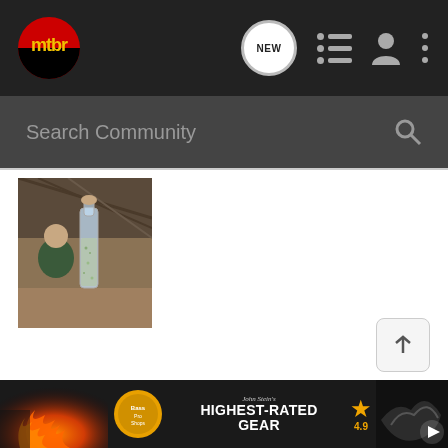mtbr navigation bar with NEW, list, profile, and menu icons
Search Community
[Figure (photo): A person sitting at an outdoor table holding up a clear glass bottle filled with liquid and small particles, photographed under a wooden shelter]
[Figure (photo): Partial view of fire or flames with orange glow at bottom left]
[Figure (other): Advertisement banner: John Stein's Bass Pro Shops - HIGHEST-RATED GEAR with 4.9 star rating and gear image with play button]